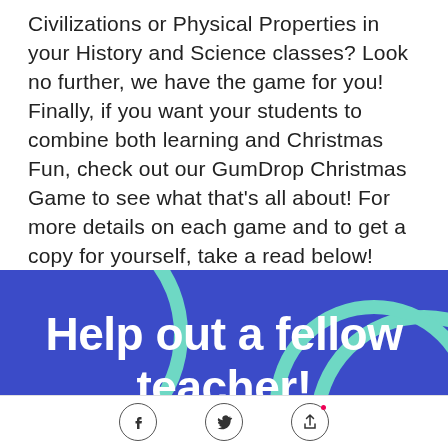Civilizations or Physical Properties in your History and Science classes? Look no further, we have the game for you! Finally, if you want your students to combine both learning and Christmas Fun, check out our GumDrop Christmas Game to see what that's all about! For more details on each game and to get a copy for yourself, take a read below!
[Figure (illustration): Blue banner with teal circle outlines and bold white text reading 'Help out a fellow teacher!']
[Figure (illustration): Social sharing bar with Facebook, Twitter, and share/upload icons in circular outlines]